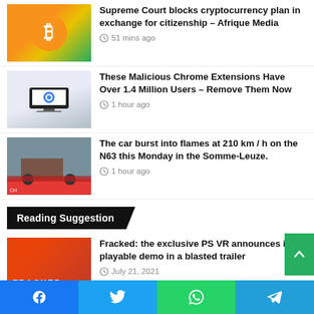[Figure (photo): Bitcoin coin image with orange and green background]
Supreme Court blocks cryptocurrency plan in exchange for citizenship – Afrique Media
51 mins ago
[Figure (photo): Laptop showing Chrome browser logo]
These Malicious Chrome Extensions Have Over 1.4 Million Users – Remove Them Now
1 hour ago
[Figure (photo): Road scene with police and truck on N63]
The car burst into flames at 210 km / h on the N63 this Monday in the Somme-Leuze.
1 hour ago
Reading Suggestion
[Figure (photo): Fracked PS VR game cover – orange themed]
Fracked: the exclusive PS VR announces its playable demo in a blasted trailer
July 21, 2021